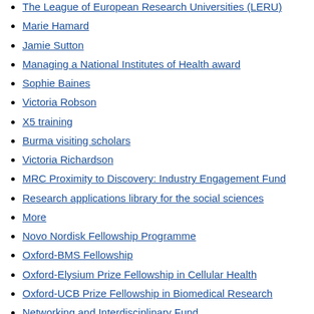The League of European Research Universities (LERU)
Marie Hamard
Jamie Sutton
Managing a National Institutes of Health award
Sophie Baines
Victoria Robson
X5 training
Burma visiting scholars
Victoria Richardson
MRC Proximity to Discovery: Industry Engagement Fund
Research applications library for the social sciences
More
Novo Nordisk Fellowship Programme
Oxford-BMS Fellowship
Oxford-Elysium Prize Fellowship in Cellular Health
Oxford-UCB Prize Fellowship in Biomedical Research
Networking and Interdisciplinary Fund
Humanities Division REF Strategic Support Fund